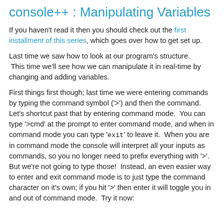console++ : Manipulating Variables
If you haven't read it then you should check out the first installment of this series, which goes over how to get set up.
Last time we saw how to look at our program's structure. This time we'll see how we can manipulate it in real-time by changing and adding variables.
First things first though; last time we were entering commands by typing the command symbol ('>') and then the command.  Let's shortcut past that by entering command mode.  You can type '>cmd' at the prompt to enter command mode, and when in command mode you can type 'exit' to leave it.  When you are in command mode the console will interpret all your inputs as commands, so you no longer need to prefix everything with '>'.
But we're not going to type those!  Instead, an even easier way to enter and exit command mode is to just type the command character on it's own; if you hit '>' then enter it will toggle you in and out of command mode.  Try it now: